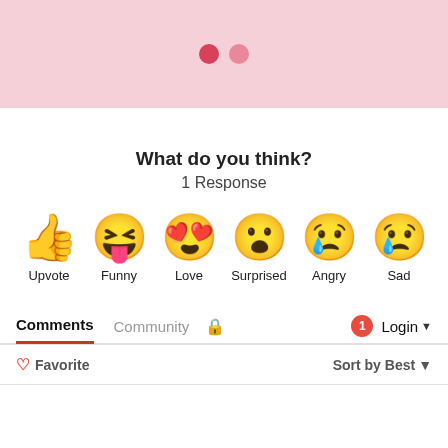[Figure (other): Pink header banner with two dots — one dark red/pink and one lighter pink — centered in the banner.]
What do you think?
1 Response
[Figure (infographic): Row of six reaction emoji icons with labels: Upvote (thumbs up), Funny (laughing with tongue), Love (heart eyes), Surprised (open mouth), Angry (crying/angry face), Sad (crying face)]
Comments  Community  🔒  1  Login
♡ Favorite    Sort by Best